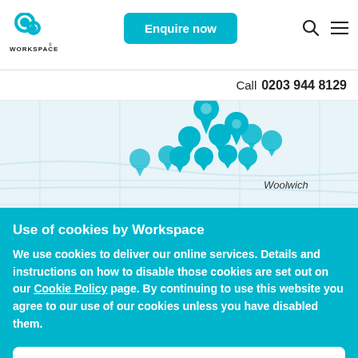[Figure (logo): Workspace logo with circular icon and WORKSPACE text]
Enquire now
Call 0203 944 8129
[Figure (map): Map background with blue location pin cluster icons near Woolwich area]
Use of cookies by Workspace
We use cookies to deliver our online services. Details and instructions on how to disable those cookies are set out on our Cookie Policy page. By continuing to use this website you agree to our use of our cookies unless you have disabled them.
Accept cookies